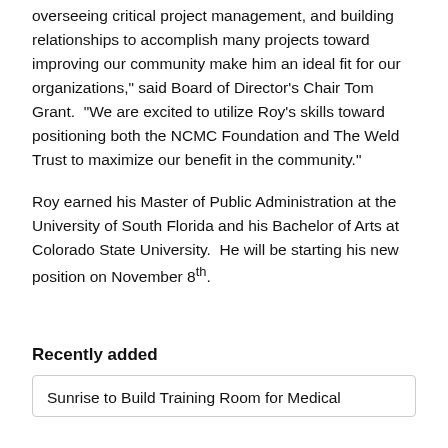overseeing critical project management, and building relationships to accomplish many projects toward improving our community make him an ideal fit for our organizations," said Board of Director's Chair Tom Grant.  "We are excited to utilize Roy's skills toward positioning both the NCMC Foundation and The Weld Trust to maximize our benefit in the community."
Roy earned his Master of Public Administration at the University of South Florida and his Bachelor of Arts at Colorado State University.  He will be starting his new position on November 8th.
Recently added
Sunrise to Build Training Room for Medical